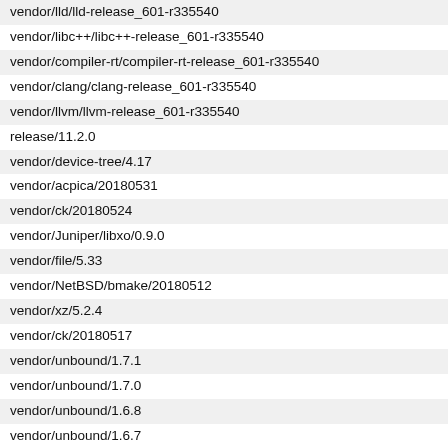vendor/lld/lld-release_601-r335540
vendor/libc++/libc++-release_601-r335540
vendor/compiler-rt/compiler-rt-release_601-r335540
vendor/clang/clang-release_601-r335540
vendor/llvm/llvm-release_601-r335540
release/11.2.0
vendor/device-tree/4.17
vendor/acpica/20180531
vendor/ck/20180524
vendor/Juniper/libxo/0.9.0
vendor/file/5.33
vendor/NetBSD/bmake/20180512
vendor/xz/5.2.4
vendor/ck/20180517
vendor/unbound/1.7.1
vendor/unbound/1.7.0
vendor/unbound/1.6.8
vendor/unbound/1.6.7
vendor/unbound/1.6.6
vendor/unbound/1.6.5
vendor/unbound/1.6.4
vendor/unbound/1.6.3
vendor/unbound/1.6.2
vendor/unbound/1.6.1
vendor/ena-com/1.1.4.5